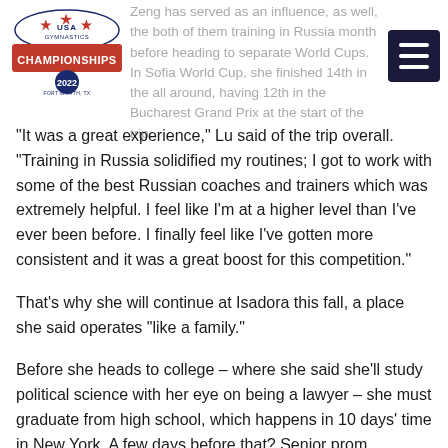USA Gymnastics Championships 2022
Zeng has served as an influence, as well, the both of them training in Russia month before heading to separate World Cups. In Sofia World Cup, she finished 14th in the all around, having 12th in the Bucharest Grand Prix at the start of the trip.
“It was a great experience,” Lu said of the trip overall. “Training in Russia solidified my routines; I got to work with some of the best Russian coaches and trainers which was extremely helpful. I feel like I’m at a higher level than I’ve ever been before. I finally feel like I’ve gotten more consistent and it was a great boost for this competition.”
That’s why she will continue at Isadora this fall, a place she said operates “like a family.”
Before she heads to college – where she said she’ll study political science with her eye on being a lawyer – she must graduate from high school, which happens in 10 days’ time in New York. A few days before that? Senior prom.
It’s a schedule that is anything but serene.
“She’s nuts! I mean in a funny way,” said Sereda, who still works as a coach at Isadora. “She’s all over the place. She is a ball of energy. But that’s who she is and that’s what makes her Serena.”